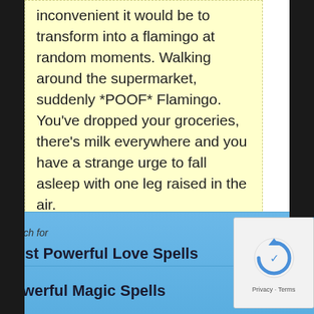inconvenient it would be to transform into a flamingo at random moments. Walking around the supermarket, suddenly *POOF* Flamingo. You've dropped your groceries, there's milk everywhere and you have a strange urge to fall asleep with one leg raised in the air.
Sabrina says:
[Figure (photo): Small avatar image of a person with dark hair against dark background]
Search for
Most Powerful Love Spells
Powerful Magic Spells
[Figure (other): reCAPTCHA widget with Privacy and Terms links]